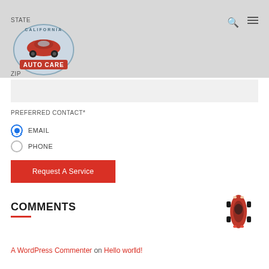STATE
[Figure (logo): California Auto Care logo — circular badge with red classic car and 'AUTO CARE' text]
ZIP
PREFERRED CONTACT*
EMAIL (selected radio button)
PHONE (unselected radio button)
Request A Service
COMMENTS
[Figure (photo): Red sports car viewed from above]
A WordPress Commenter on Hello world!